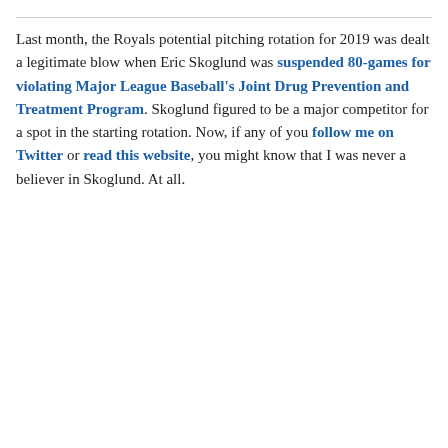Last month, the Royals potential pitching rotation for 2019 was dealt a legitimate blow when Eric Skoglund was suspended 80-games for violating Major League Baseball's Joint Drug Prevention and Treatment Program. Skoglund figured to be a major competitor for a spot in the starting rotation. Now, if any of you follow me on Twitter or read this website, you might know that I was never a believer in Skoglund. At all.